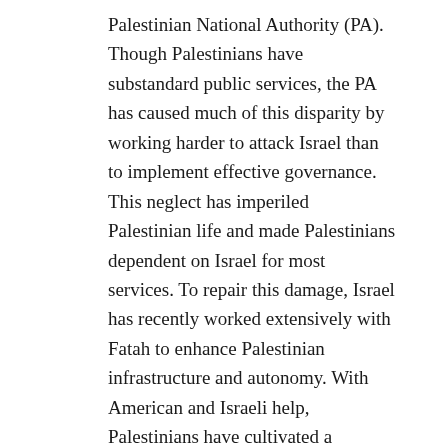Palestinian National Authority (PA). Though Palestinians have substandard public services, the PA has caused much of this disparity by working harder to attack Israel than to implement effective governance. This neglect has imperiled Palestinian life and made Palestinians dependent on Israel for most services. To repair this damage, Israel has recently worked extensively with Fatah to enhance Palestinian infrastructure and autonomy. With American and Israeli help, Palestinians have cultivated a competent police force that provides basic security. Palestinian Prime Minister Salam Fayyad has worked with Israel to develop the Palestinian Ministry of Finance, leading to unprecedented GDP growth in the West Bank. Israel has not abandoned the Palestinians, and this recent cooperation will hasten Palestinian independence.
Despite the incalculable benefit to Palestinians that Fayyad's work has accomplished, C-SJP wants none